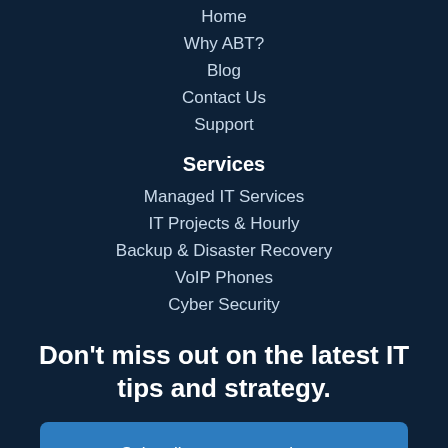Home
Why ABT?
Blog
Contact Us
Support
Services
Managed IT Services
IT Projects & Hourly
Backup & Disaster Recovery
VoIP Phones
Cyber Security
Don't miss out on the latest IT tips and strategy.
Subscribe to our newsletter